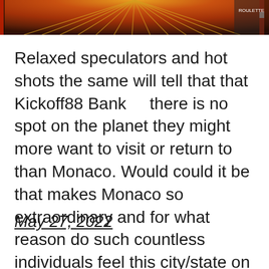[Figure (photo): Close-up image of a roulette wheel showing red and orange segments with gold dividers, cropped at the top of the page.]
Relaxed speculators and hot shots the same will tell that that   Kickoff88 Bank      there is no spot on the planet they might more want to visit or return to than Monaco. Would could it be that makes Monaco so extraordinary and for what reason do such countless individuals feel this city/state on […]
May 27, 2022